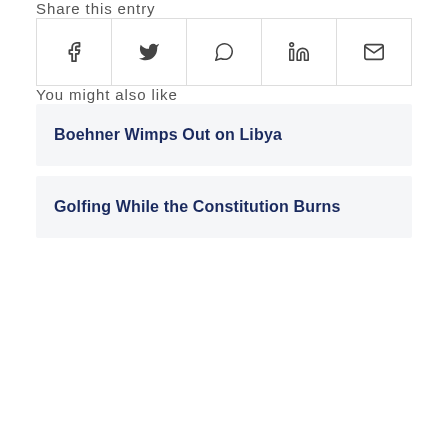Share this entry
| f | y | whatsapp | in | mail |
| --- | --- | --- | --- | --- |
| f | y | ○ | in | ✉ |
You might also like
Boehner Wimps Out on Libya
Golfing While the Constitution Burns